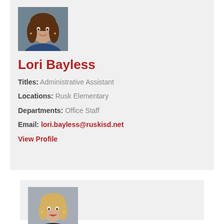[Figure (photo): Headshot photo of Lori Bayless, woman with brown hair, wearing blue top]
Lori Bayless
Titles: Administrative Assistant
Locations: Rusk Elementary
Departments: Office Staff
Email: lori.bayless@ruskisd.net
View Profile
[Figure (photo): Headshot photo of a woman with blonde hair, smiling]